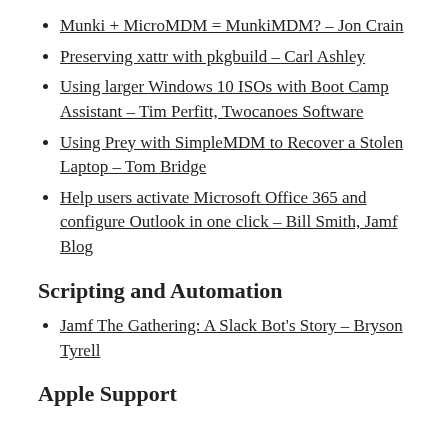Munki + MicroMDM = MunkiMDM? – Jon Crain
Preserving xattr with pkgbuild – Carl Ashley
Using larger Windows 10 ISOs with Boot Camp Assistant – Tim Perfitt, Twocanoes Software
Using Prey with SimpleMDM to Recover a Stolen Laptop – Tom Bridge
Help users activate Microsoft Office 365 and configure Outlook in one click – Bill Smith, Jamf Blog
Scripting and Automation
Jamf The Gathering: A Slack Bot's Story – Bryson Tyrell
Apple Support